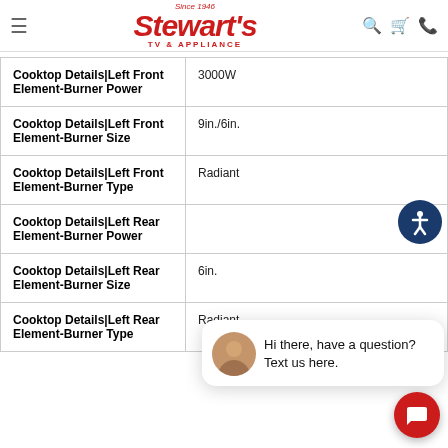[Figure (logo): Stewart's TV & Appliance logo with 'Since 1946' tagline in red italic font]
| Specification | Value |
| --- | --- |
| Cooktop Details|Left Front Element-Burner Power | 3000W |
| Cooktop Details|Left Front Element-Burner Size | 9in./6in. |
| Cooktop Details|Left Front Element-Burner Type | Radiant |
| Cooktop Details|Left Rear Element-Burner Power |  |
| Cooktop Details|Left Rear Element-Burner Size | 6in. |
| Cooktop Details|Left Rear Element-Burner Type (partial) | Radiant |